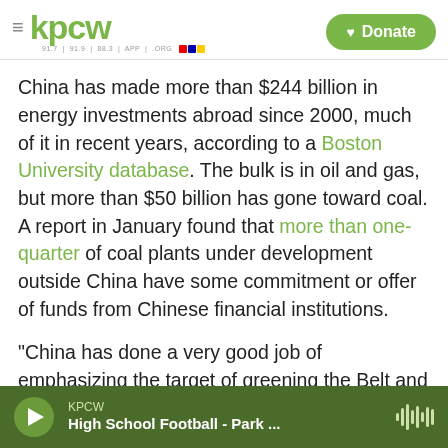KPCW — Donate
China has made more than $244 billion in energy investments abroad since 2000, much of it in recent years, according to a Boston University database. The bulk is in oil and gas, but more than $50 billion has gone toward coal. A report in January found that more than one-quarter of coal plants under development outside China have some commitment or offer of funds from Chinese financial institutions.
"China has done a very good job of emphasizing the target of greening the Belt and Road," said Courtney Weatherby, a Southeast Asia analyst at
KPCW — High School Football - Park ...